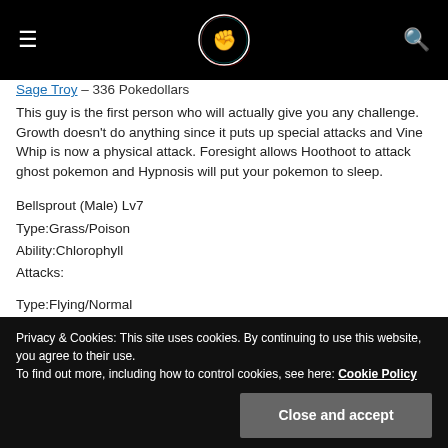[Figure (logo): Website header with hamburger menu icon on left, circular logo in center, search icon on right, on black background]
Sage Troy – 336 Pokedollars
This guy is the first person who will actually give you any challenge. Growth doesn't do anything since it puts up special attacks and Vine Whip is now a physical attack. Foresight allows Hoothoot to attack ghost pokemon and Hypnosis will put your pokemon to sleep.
Bellsprout (Male) Lv7
Type:Grass/Poison
Ability:Chlorophyll
Attacks:
Type:Flying/Normal
Privacy & Cookies: This site uses cookies. By continuing to use this website, you agree to their use.
To find out more, including how to control cookies, see here: Cookie Policy
Close and accept